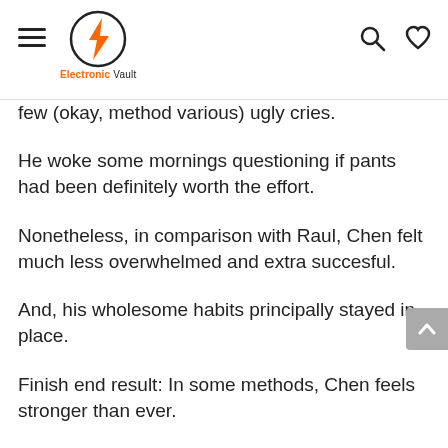Electronic Vault
few (okay, method various) ugly cries.
He woke some mornings questioning if pants had been definitely worth the effort.
Nonetheless, in comparison with Raul, Chen felt much less overwhelmed and extra succesful.
And, his wholesome habits principally stayed in place.
Finish end result: In some methods, Chen feels stronger than ever.